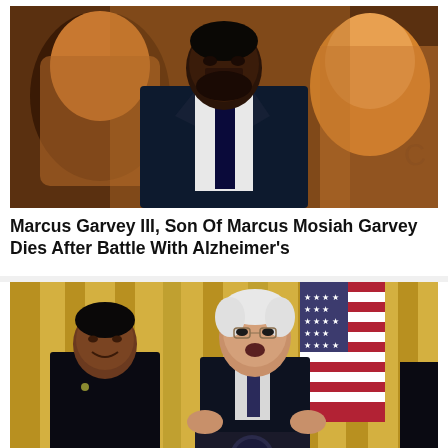[Figure (photo): Man in dark suit and tie standing in front of a colorful mural depicting a face]
Marcus Garvey III, Son Of Marcus Mosiah Garvey Dies After Battle With Alzheimer's
[Figure (photo): President Biden speaking at a podium in a room with gold curtains and American flags, a woman in black standing to his left]